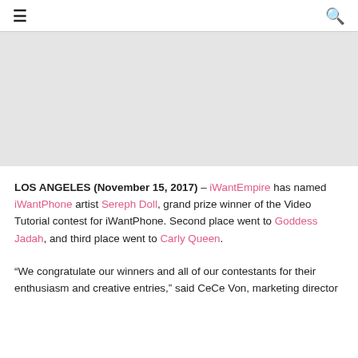≡  🔍
[Figure (photo): Large image placeholder area, light gray background]
LOS ANGELES (November 15, 2017) – iWantEmpire has named iWantPhone artist Sereph Doll, grand prize winner of the Video Tutorial contest for iWantPhone. Second place went to Goddess Jadah, and third place went to Carly Queen.
“We congratulate our winners and all of our contestants for their enthusiasm and creative entries,” said CeCe Von, marketing director